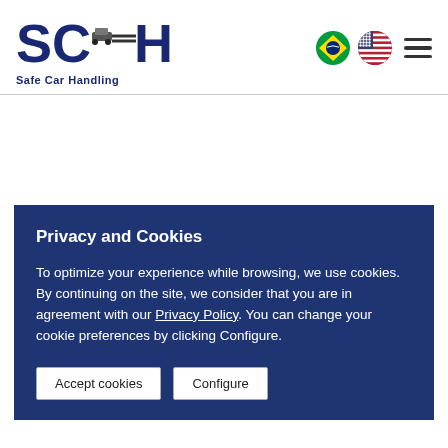[Figure (logo): SCH Safe Car Handling logo with stylized text and car graphic]
[Figure (illustration): Brazilian flag circle icon and US flag circle icon and hamburger menu icon]
Privacy and Cookies
To optimize your experience while browsing, we use cookies. By continuing on the site, we consider that you are in agreement with our Privacy Policy. You can change your cookie preferences by clicking Configure.
Accept cookies   Configure